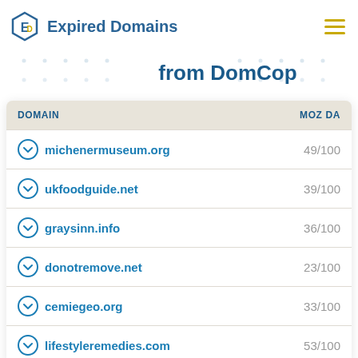Expired Domains
from DomCop
| DOMAIN | MOZ DA |
| --- | --- |
| michenermuseum.org | 49/100 |
| ukfoodguide.net | 39/100 |
| graysinn.info | 36/100 |
| donotremove.net | 23/100 |
| cemiegeo.org | 33/100 |
| lifestyleremedies.com | 53/100 |